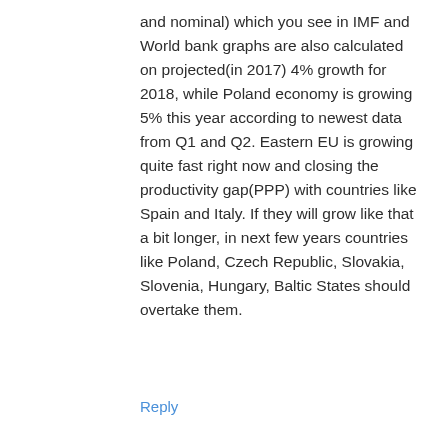and nominal) which you see in IMF and World bank graphs are also calculated on projected(in 2017) 4% growth for 2018, while Poland economy is growing 5% this year according to newest data from Q1 and Q2. Eastern EU is growing quite fast right now and closing the productivity gap(PPP) with countries like Spain and Italy. If they will grow like that a bit longer, in next few years countries like Poland, Czech Republic, Slovakia, Slovenia, Hungary, Baltic States should overtake them.
Reply